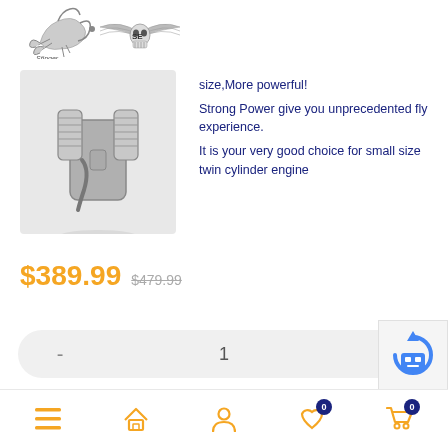[Figure (logo): Stinger Engines logo with scorpion and winged skull emblem]
[Figure (photo): Close-up product photo of a small twin cylinder engine, metallic silver]
size,More powerful!
Strong Power give you unprecedented fly experience.
It is your very good choice for small size twin cylinder engine
$389.99 $479.99
- 1 +
Add to cart